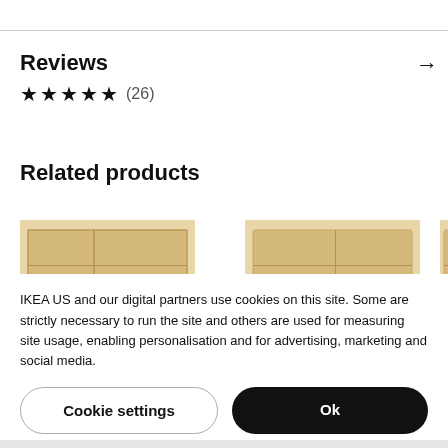Reviews
★★★★½ (26)
Related products
[Figure (photo): Two wooden open-shelf bookcase/storage units shown side by side, partially cropped, in a light birch/beech finish]
IKEA US and our digital partners use cookies on this site. Some are strictly necessary to run the site and others are used for measuring site usage, enabling personalisation and for advertising, marketing and social media.
Cookie settings | Ok